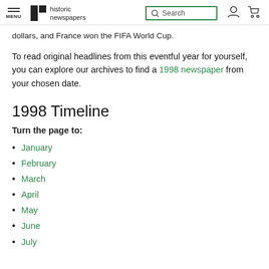MENU | historic newspapers | Search
dollars, and France won the FIFA World Cup.
To read original headlines from this eventful year for yourself, you can explore our archives to find a 1998 newspaper from your chosen date.
1998 Timeline
Turn the page to:
January
February
March
April
May
June
July